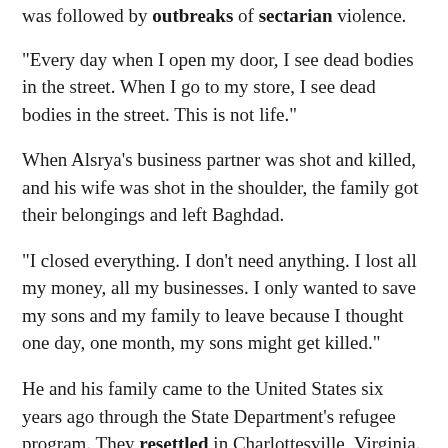was followed by outbreaks of sectarian violence.
"Every day when I open my door, I see dead bodies in the street. When I go to my store, I see dead bodies in the street. This is not life."
When Alsrya's business partner was shot and killed, and his wife was shot in the shoulder, the family got their belongings and left Baghdad.
"I closed everything. I don't need anything. I lost all my money, all my businesses. I only wanted to save my sons and my family to leave because I thought one day, one month, my sons might get killed."
He and his family came to the United States six years ago through the State Department's refugee program. They resettled in Charlottesville, Virginia.